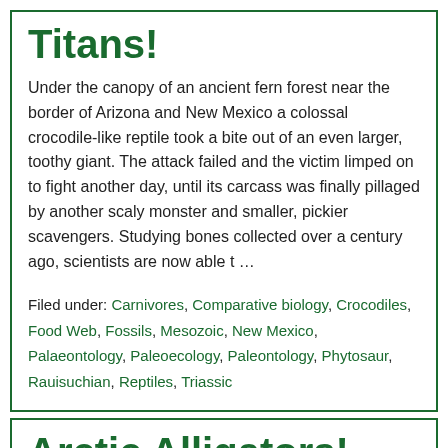Titans!
Under the canopy of an ancient fern forest near the border of Arizona and New Mexico a colossal crocodile-like reptile took a bite out of an even larger, toothy giant. The attack failed and the victim limped on to fight another day, until its carcass was finally pillaged by another scaly monster and smaller, pickier scavengers. Studying bones collected over a century ago, scientists are now able t …
Filed under: Carnivores, Comparative biology, Crocodiles, Food Web, Fossils, Mesozoic, New Mexico, Palaeontology, Paleoecology, Paleontology, Phytosaur, Rauisuchian, Reptiles, Triassic
Arctic Alligators!